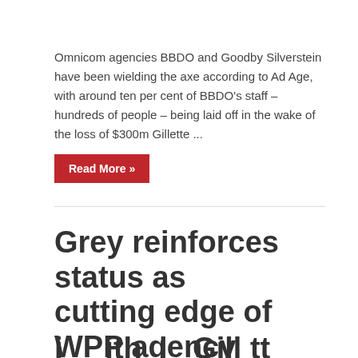Omnicom agencies BBDO and Goodby Silverstein have been wielding the axe according to Ad Age, with around ten per cent of BBDO's staff – hundreds of people – being laid off in the wake of the loss of $300m Gillette ...
Read More »
Grey reinforces status as cutting edge of WPP agency